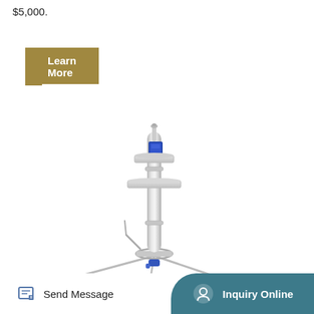$5,000.
Learn More
[Figure (photo): A stainless steel industrial instrument or sensor device mounted on a tripod-like base with blue components at top and bottom, shown on white background.]
TOP
Send Message
Inquiry Online